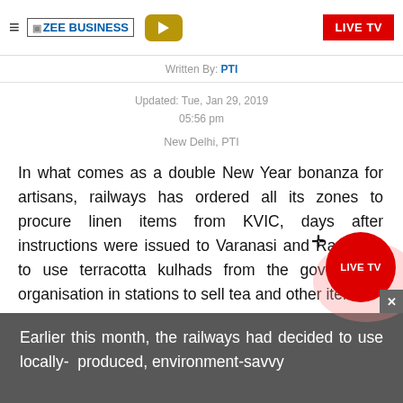ZEE BUSINESS | LIVE TV
Written By: PTI
Updated: Tue, Jan 29, 2019
05:56 pm
New Delhi, PTI
In what comes as a double New Year bonanza for artisans, railways has ordered all its zones to procure linen items from KVIC, days after instructions were issued to Varanasi and Raebareli to use terracotta kulhads from the government organisation in stations to sell tea and other items.
Earlier this month, the railways had decided to use locally- produced, environment-savvy